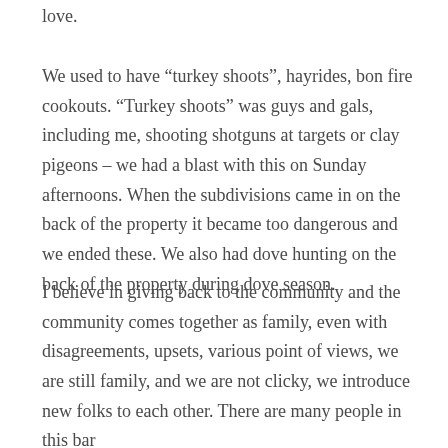love.
We used to have “turkey shoots”, hayrides, bon fire cookouts. “Turkey shoots” was guys and gals, including me, shooting shotguns at targets or clay pigeons – we had a blast with this on Sunday afternoons. When the subdivisions came in on the back of the property it became too dangerous and we ended these. We also had dove hunting on the back of the property during dove season.
I believe in giving back to the community and the community comes together as family, even with disagreements, upsets, various point of views, we are still family, and we are not clicky, we introduce new folks to each other. There are many people in this bar